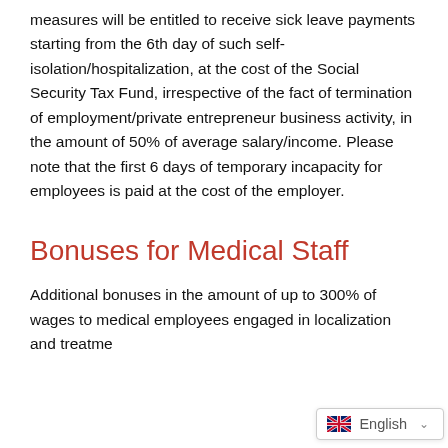measures will be entitled to receive sick leave payments starting from the 6th day of such self-isolation/hospitalization, at the cost of the Social Security Tax Fund, irrespective of the fact of termination of employment/private entrepreneur business activity, in the amount of 50% of average salary/income. Please note that the first 6 days of temporary incapacity for employees is paid at the cost of the employer.
Bonuses for Medical Staff
Additional bonuses in the amount of up to 300% of wages to medical employees engaged in localization and treatme...